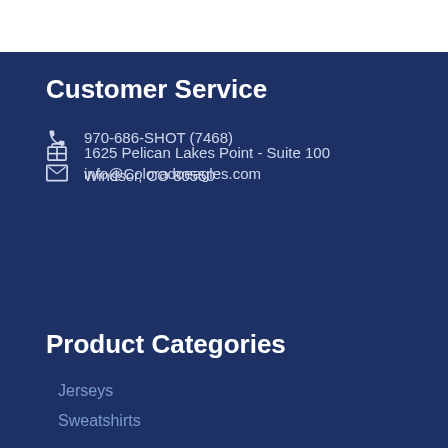Customer Service
970-686-SHOT (7468)
1625 Pelican Lakes Point - Suite 100
Windsor, CO 80550
info@Coloradoeagles.com
Product Categories
Jerseys
Sweatshirts